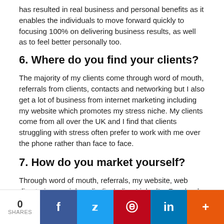has resulted in real business and personal benefits as it enables the individuals to move forward quickly to focusing 100% on delivering business results, as well as to feel better personally too.
6. Where do you find your clients?
The majority of my clients come through word of mouth, referrals from clients, contacts and networking but I also get a lot of business from internet marketing including my website which promotes my stress niche. My clients come from all over the UK and I find that clients struggling with stress often prefer to work with me over the phone rather than face to face.
7. How do you market yourself?
Through word of mouth, referrals, my website, web directories, social media (including LinkedIn, Facebook, Twitter and Google +), email marketing,
0 SHARES